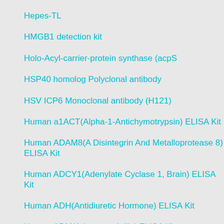Hepes-TL
HMGB1 detection kit
Holo-Acyl-carrier-protein synthase (acpS
HSP40 homolog Polyclonal antibody
HSV ICP6 Monoclonal antibody (H121)
Human a1ACT(Alpha-1-Antichymotrypsin) ELISA Kit
Human ADAM8(A Disintegrin And Metalloprotease 8) ELISA Kit
Human ADCY1(Adenylate Cyclase 1, Brain) ELISA Kit
Human ADH(Antidiuretic Hormone) ELISA Kit
Human ADM(Adrenomedullin) ELISA Kit